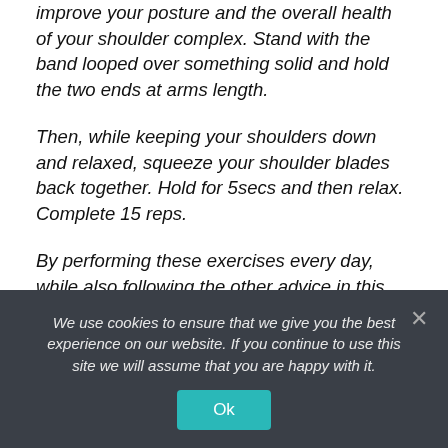improve your posture and the overall health of your shoulder complex. Stand with the band looped over something solid and hold the two ends at arms length.
Then, while keeping your shoulders down and relaxed, squeeze your shoulder blades back together. Hold for 5secs and then relax. Complete 15 reps.
By performing these exercises every day, while also following the other advice in this article, you're giving yourself a great chance of following a posture of true well-b...
We use cookies to ensure that we give you the best experience on our website. If you continue to use this site we will assume that you are happy with it.